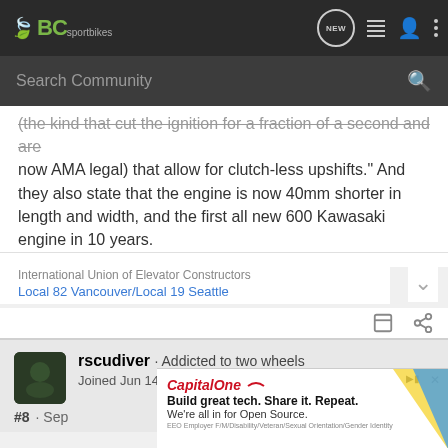BCsportbikes navigation bar with search
(the kind that cut the ignition for a fraction of a second and are now AMA legal) that allow for clutch-less upshifts." And they also state that the engine is now 40mm shorter in length and width, and the first all new 600 Kawasaki engine in 10 years.
International Union of Elevator Constructors
Local 82 Vancouver/Local 19 Seattle
rscudiver · Addicted to two wheels
Joined Jun 14, 2003 · 2,615 Posts
#8 · Sep [date cut off]
[Figure (screenshot): Capital One advertisement: Build great tech. Share it. Repeat. We're all in for Open Source.]